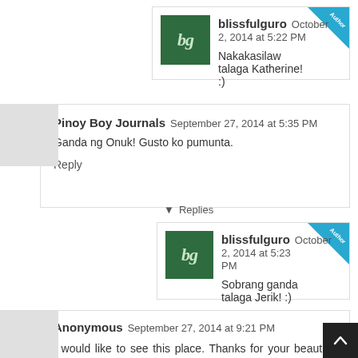blissfulguro  October 2, 2014 at 5:22 PM
Nakakasilaw talaga Katherine! :)
Pinoy Boy Journals  September 27, 2014 at 5:35 PM
Ganda ng Onuk! Gusto ko pumunta.
Reply
▾  Replies
blissfulguro  October 2, 2014 at 5:23 PM
Sobrang ganda talaga Jerik! :)
Anonymous  September 27, 2014 at 9:21 PM
I would like to see this place. Thanks for your beautiful pictures.
Reply